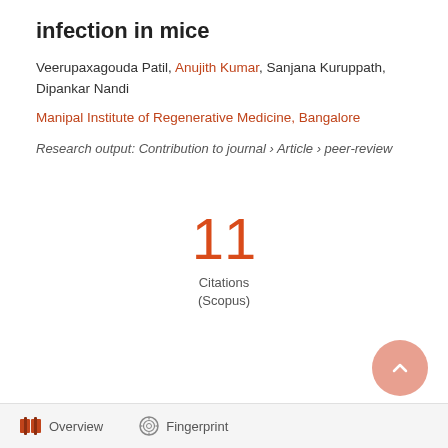infection in mice
Veerupaxagouda Patil, Anujith Kumar, Sanjana Kuruppath, Dipankar Nandi
Manipal Institute of Regenerative Medicine, Bangalore
Research output: Contribution to journal › Article › peer-review
11 Citations (Scopus)
Overview   Fingerprint